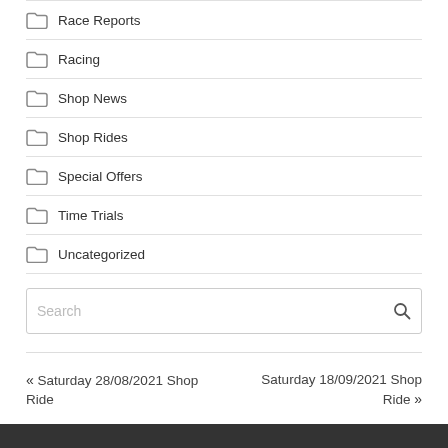Race Reports
Racing
Shop News
Shop Rides
Special Offers
Time Trials
Uncategorized
Search
« Saturday 28/08/2021 Shop Ride
Saturday 18/09/2021 Shop Ride »